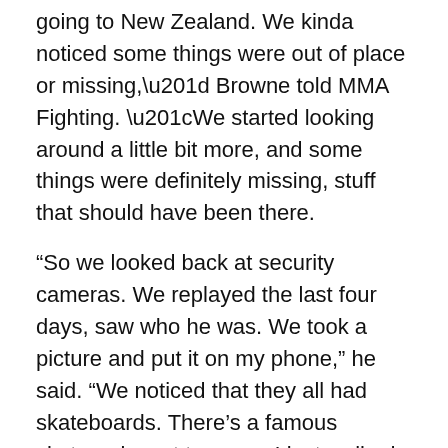going to New Zealand. We kinda noticed some things were out of place or missing,” Browne told MMA Fighting. “We started looking around a little bit more, and some things were definitely missing, stuff that should have been there.
“So we looked back at security cameras. We replayed the last four days, saw who he was. We took a picture and put it on my phone,” he said. “We noticed that they all had skateboards. There’s a famous skatepark next to us, so I just walked down and saw the two guys and the chick. I walked over to the cops and said there they are. They tried to get away in the crowd and stuff, but they were arrested a couple of hours later.”
According to Browne, Rousey’s Olympic medal also ended up being instrumental in the case.